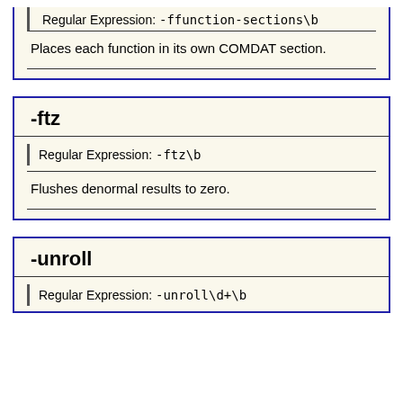Regular Expression: -ffunction-sections\b
Places each function in its own COMDAT section.
-ftz
Regular Expression: -ftz\b
Flushes denormal results to zero.
-unroll
Regular Expression: -unroll\d+\b